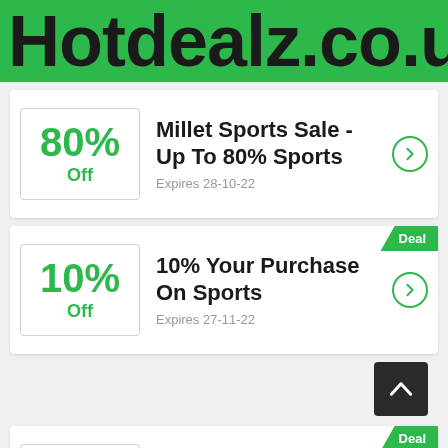Hotdealz.co.uk
80% Off — Millet Sports Sale - Up To 80% Sports — Expires 28-10-22
Deal — 10% Off — 10% Your Purchase On Sports — Expires 27-11-22
Deal — 10% — 10% Any Order